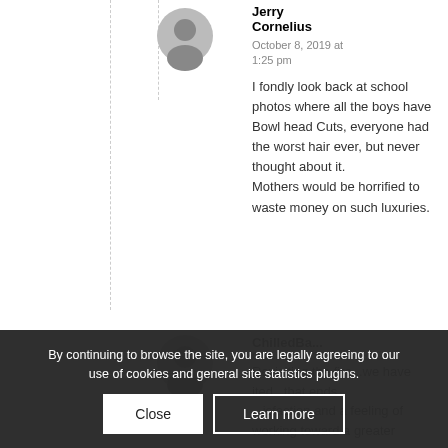[Figure (illustration): Circular avatar/profile image placeholder with a generic user silhouette in gray]
Jerry
Cornelius
October 8, 2019 at 1:25 pm
I fondly look back at school photos where all the boys have Bowl head Cuts, everyone had the worst hair ever, but never thought about it.
Mothers would be horrified to waste money on such luxuries.
[Figure (illustration): Partially visible circular avatar/profile image placeholder for a second commenter]
ChilledBa...
October 11, 2019 at 4:59 am
Revisiting the fire...we have ited...that ends ...isfaction and a feeling of working toward a greater
By continuing to browse the site, you are legally agreeing to our use of cookies and general site statistics plugins.
Close
Learn more